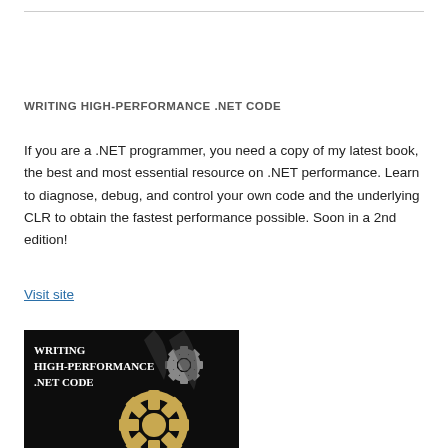WRITING HIGH-PERFORMANCE .NET CODE
If you are a .NET programmer, you need a copy of my latest book, the best and most essential resource on .NET performance. Learn to diagnose, debug, and control your own code and the underlying CLR to obtain the fastest performance possible. Soon in a 2nd edition!
Visit site
[Figure (photo): Book cover for 'Writing High-Performance .NET Code' showing the title in white and gold text on a dark background with mechanical gears imagery]